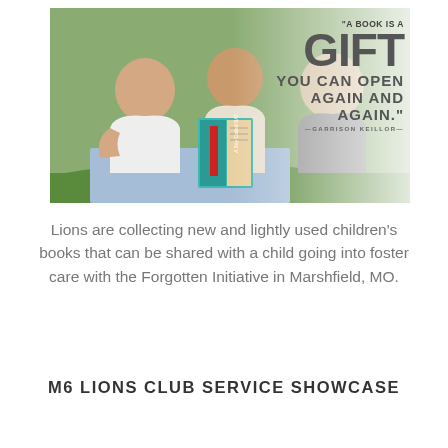[Figure (photo): Three boys lying on grass reading a book (A Boy Called Bat), with a quote overlay on the right side reading: 'A book is a gift you can open again and again.' — Garrison Keillor]
Lions are collecting new and lightly used children’s books that can be shared with a child going into foster care with the Forgotten Initiative in Marshfield, MO.
M6 LIONS CLUB SERVICE SHOWCASE